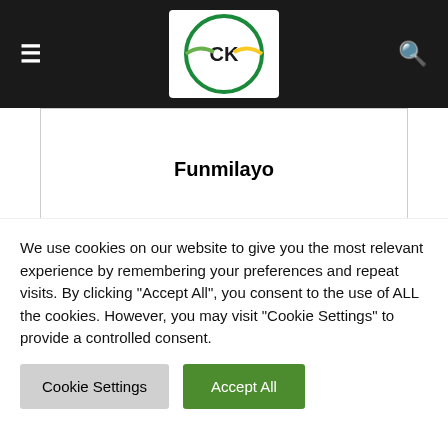CK logo header with hamburger menu and search icon
Funmilayo
RELATED ARTICLES | MORE FROM AUTHOR
“You Go a Day Before Jeje”: Davido Laughs at Kizz Daniel As He Travels to
We use cookies on our website to give you the most relevant experience by remembering your preferences and repeat visits. By clicking “Accept All”, you consent to the use of ALL the cookies. However, you may visit “Cookie Settings” to provide a controlled consent.
Cookie Settings  Accept All